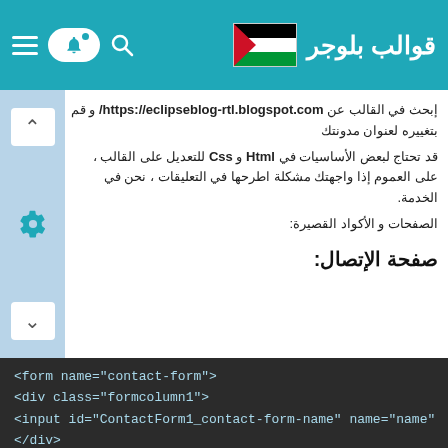قوالب بلوجر
إبحث في القالب عن https://eclipseblog-rtl.blogspot.com/ و قم بتغييره لعنوان مدونتك
قد تحتاج لبعض الأساسيات في Html و Css للتعديل على القالب ، على العموم إذا واجهتك مشكلة اطرحها في التعليقات ، نحن في الخدمة. الصفحات و الأكواد القصيرة:
صفحة الإتصال:
[Figure (screenshot): HTML code block showing contact form markup with form, div, and input tags on dark background]